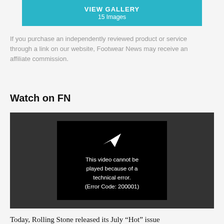[Figure (screenshot): Teal gallery banner showing VIEW GALLERY and 15 Images]
If you purchase an independently reviewed product or service through a link on our website, Footwear News may receive an affiliate commission.
Watch on FN
[Figure (screenshot): Video player showing error: This video cannot be played because of a technical error. (Error Code: 200001)]
Today, Rolling Stone released its July “Hot” issue